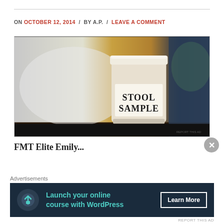ON OCTOBER 12, 2014 / BY A.P. / LEAVE A COMMENT
[Figure (photo): A white plastic specimen container labeled 'STOOL SAMPLE' in bold black text, sitting on a dark surface against a blurred background with amber and blue tones.]
FMT Elite Emily...
Advertisements
Launch your online course with WordPress — Learn More